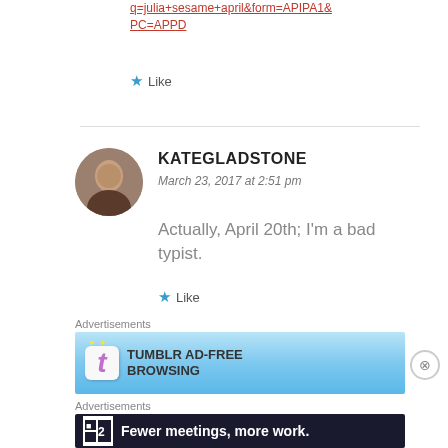q=julia+sesame+april&form=APIPA1&PC=APPD
Like
KATEGLADSTONE
March 23, 2017 at 2:51 pm
Actually, April 20th; I'm a bad typist.
Like
Advertisements
[Figure (screenshot): Tumblr Ad-Free Browsing advertisement banner: $39.99 a year or $4.99 a month]
Advertisements
[Figure (screenshot): Fewer meetings, more work. advertisement banner with F2 logo]